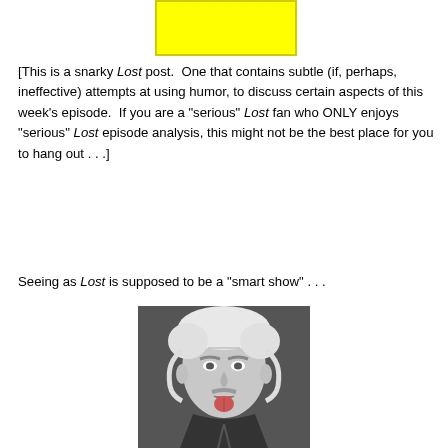[Figure (other): Yellow rectangle at top of page]
[This is a snarky Lost post.  One that contains subtle (if, perhaps, ineffective) attempts at using humor, to discuss certain aspects of this week’s episode.  If you are a “serious” Lost fan who ONLY enjoys “serious” Lost episode analysis, this might not be the best place for you to hang out . . .]
Seeing as Lost is supposed to be a “smart show” . . .
[Figure (photo): Black and white photograph of Albert Einstein sticking out his tongue]